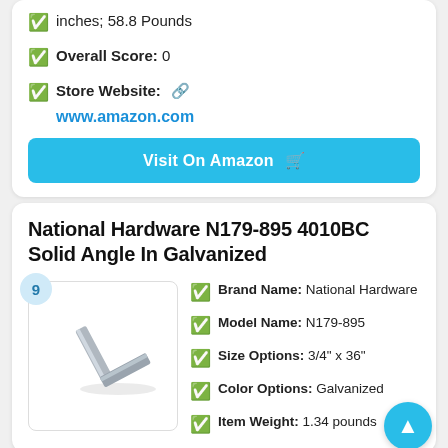inches; 58.8 Pounds
Overall Score: 0
Store Website: 🔗
www.amazon.com
Visit On Amazon 🛒
National Hardware N179-895 4010BC Solid Angle In Galvanized
Brand Name: National Hardware
Model Name: N179-895
Size Options: 3/4" x 36"
Color Options: Galvanized
Item Weight: 1.34 pounds